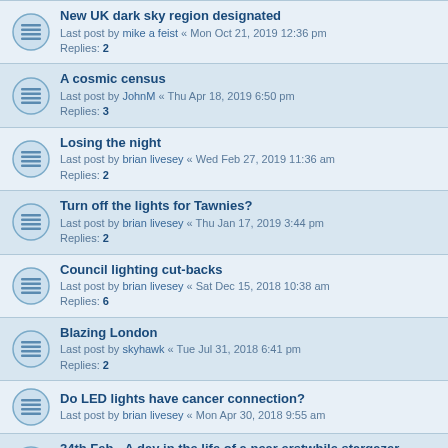New UK dark sky region designated
Last post by mike a feist « Mon Oct 21, 2019 12:36 pm
Replies: 2
A cosmic census
Last post by JohnM « Thu Apr 18, 2019 6:50 pm
Replies: 3
Losing the night
Last post by brian livesey « Wed Feb 27, 2019 11:36 am
Replies: 2
Turn off the lights for Tawnies?
Last post by brian livesey « Thu Jan 17, 2019 3:44 pm
Replies: 2
Council lighting cut-backs
Last post by brian livesey « Sat Dec 15, 2018 10:38 am
Replies: 6
Blazing London
Last post by skyhawk « Tue Jul 31, 2018 6:41 pm
Replies: 2
Do LED lights have cancer connection?
Last post by brian livesey « Mon Apr 30, 2018 9:55 am
24th Feb - A day in the life of a near erstwhile stargazer
Last post by Cliff « Fri Mar 02, 2018 4:13 pm
Replies: 9
An apology
Last post by Cliff « Fri Mar 02, 2018 3:23 pm
Replies: 2
An apology